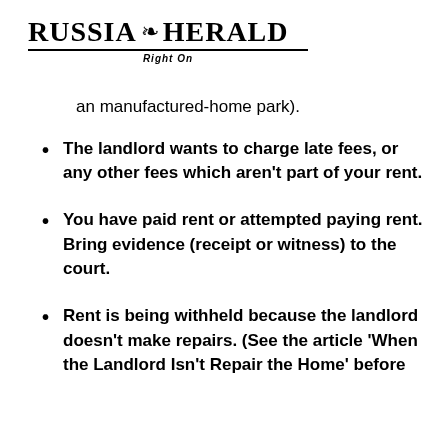RUSSIA HERALD
RIGHT ON
an manufactured-home park).
The landlord wants to charge late fees, or any other fees which aren't part of your rent.
You have paid rent or attempted paying rent. Bring evidence (receipt or witness) to the court.
Rent is being withheld because the landlord doesn't make repairs. (See the article 'When the Landlord Isn't Repair the Home' before